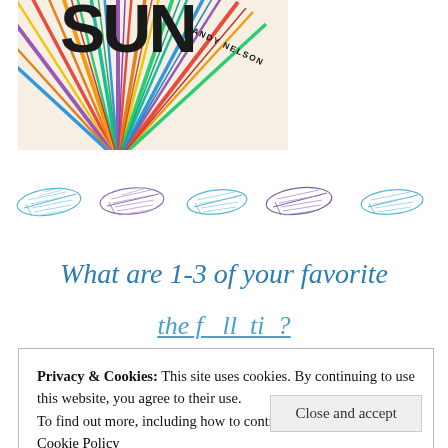[Figure (illustration): Book cover of 'I'll Give You the Sun' by Jandy Nelson — colorful sunburst rays radiating from center with bold title text 'SUN' visible and author name 'JANDY NELSON' on the right side]
[Figure (illustration): Decorative row of five alternating blue and purple feather illustrations used as a section divider]
What are 1-3 of your favorite
the f ll ti  ?
Privacy & Cookies: This site uses cookies. By continuing to use this website, you agree to their use.
To find out more, including how to control cookies, see here:
Cookie Policy
Close and accept